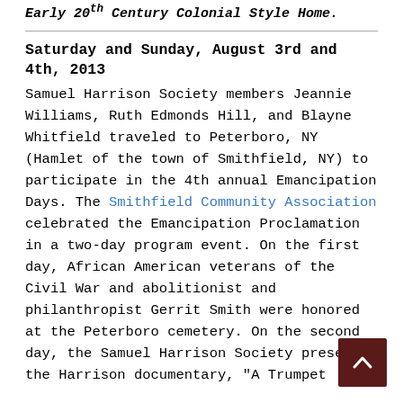Early 20th Century Colonial Style Home.
Saturday and Sunday, August 3rd and 4th, 2013
Samuel Harrison Society members Jeannie Williams, Ruth Edmonds Hill, and Blayne Whitfield traveled to Peterboro, NY (Hamlet of the town of Smithfield, NY) to participate in the 4th annual Emancipation Days. The Smithfield Community Association celebrated the Emancipation Proclamation in a two-day program event. On the first day, African American veterans of the Civil War and abolitionist and philanthropist Gerrit Smith were honored at the Peterboro cemetery. On the second day, the Samuel Harrison Society presented the Harrison documentary, "A Trumpet